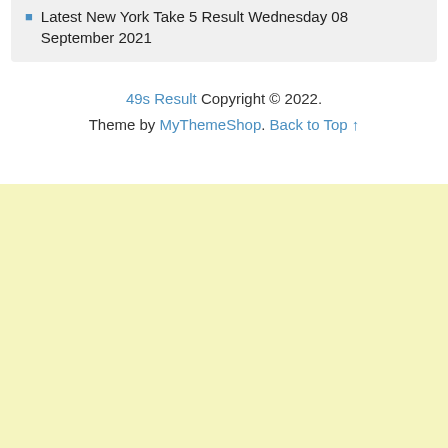Latest New York Take 5 Result Wednesday 08 September 2021
49s Result Copyright © 2022. Theme by MyThemeShop. Back to Top ↑
[Figure (other): Yellow/cream colored advertisement or placeholder block]